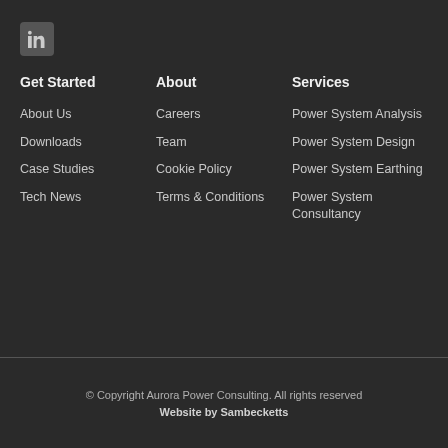[Figure (logo): LinkedIn icon button, grey square with 'in' symbol]
Get Started
About Us
Downloads
Case Studies
Tech News
About
Careers
Team
Cookie Policy
Terms & Conditions
Services
Power System Analysis
Power System Design
Power System Earthing
Power System Consultancy
© Copyright Aurora Power Consulting. All rights reserved
Website by Sambecketts